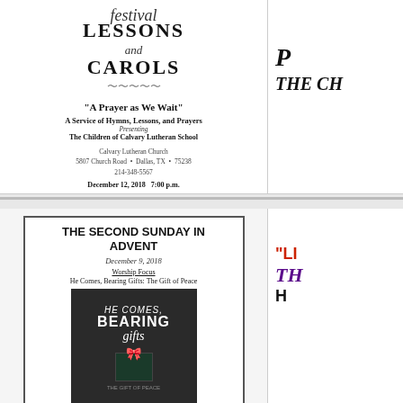Festival of Lessons and Carols
"A Prayer as We Wait"
A Service of Hymns, Lessons, and Prayers
Presenting
The Children of Calvary Lutheran School
Calvary Lutheran Church
5807 Church Road • Dallas, TX • 75238
214-348-5567
December 12, 2018 7:00 p.m.
P
THE CH
THE SECOND SUNDAY IN ADVENT
December 9, 2018
Worship Focus
He Comes, Bearing Gifts: The Gift of Peace
[Figure (photo): Church bulletin cover image showing 'He Comes, Bearing Gifts' with a gift box and berries on dark background]
CALVARY LUTHERAN CHURCH
5807 CHURCH ROAD
DALLAS, TX 75238 • 214-348-5567
churchsec@cadtes.org
"LI
TH
H